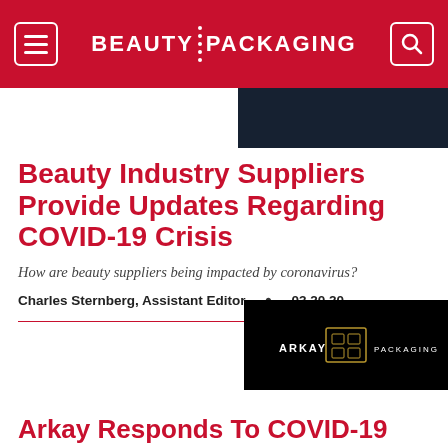BEAUTY PACKAGING
[Figure (photo): Dark blue/teal background image in upper right corner]
Beauty Industry Suppliers Provide Updates Regarding COVID-19 Crisis
How are beauty suppliers being impacted by coronavirus?
Charles Sternberg, Assistant Editor  •  03.20.20
[Figure (logo): Arkay Packaging logo on black background]
Arkay Responds To COVID-19